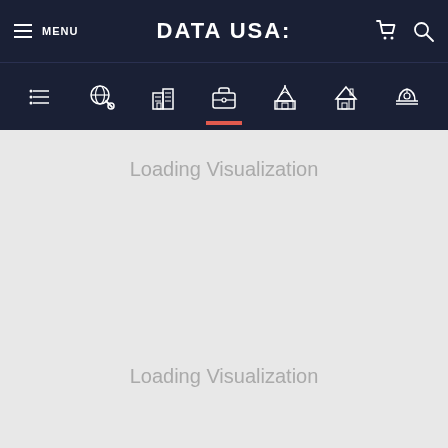MENU  DATA USA:
[Figure (screenshot): Navigation icon bar with 7 icons: list/menu, search globe, buildings, briefcase (active, selected), capitol building, house, worker helmet]
Loading Visualization
Loading Visualization